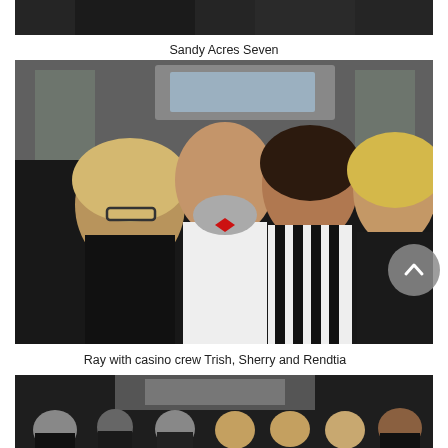[Figure (photo): Top portion of a group photo cropped at the top of the page, showing people dressed in formal attire against a dark background.]
Sandy Acres Seven
[Figure (photo): Four people posing together at a Saints Board event: a man with a gray beard wearing a red bow tie and white shirt, flanked by three women. The leftmost woman has long blonde hair and glasses, the center woman wears a black and white striped dress, and the rightmost woman has blonde hair and wears a black top. A 'Saints Board' banner is visible in the background.]
Ray with casino crew Trish, Sherry and Rendtia
[Figure (photo): Bottom portion of another group photo, showing multiple people in formal attire in front of a 'Board' banner, partially cropped at the bottom of the page.]